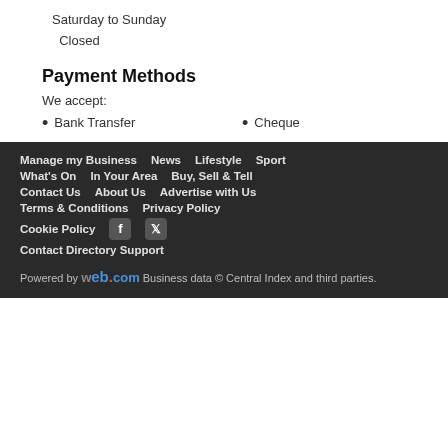Saturday to Sunday
Closed
Payment Methods
We accept:
Bank Transfer
Cheque
Manage my Business | News | Lifestyle | Sport | What's On | In Your Area | Buy, Sell & Tell | Contact Us | About Us | Advertise with Us | Terms & Conditions | Privacy Policy | Cookie Policy | Contact Directory Support
Powered by web.com Business data © Central Index and third parties.